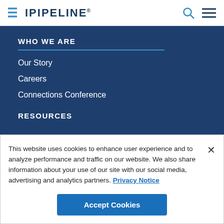iPIPELINE
WHO WE ARE
Our Story
Careers
Connections Conference
RESOURCES
This website uses cookies to enhance user experience and to analyze performance and traffic on our website. We also share information about your use of our site with our social media, advertising and analytics partners. Privacy Notice
Accept Cookies